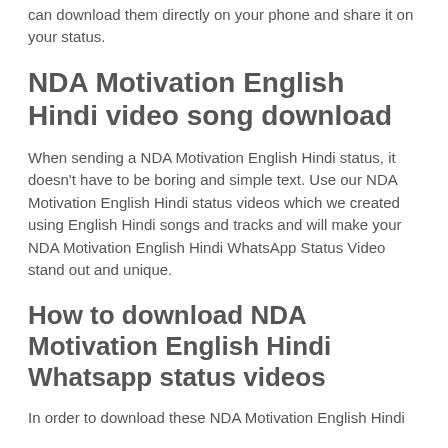can download them directly on your phone and share it on your status.
NDA Motivation English Hindi video song download
When sending a NDA Motivation English Hindi status, it doesn't have to be boring and simple text. Use our NDA Motivation English Hindi status videos which we created using English Hindi songs and tracks and will make your NDA Motivation English Hindi WhatsApp Status Video stand out and unique.
How to download NDA Motivation English Hindi Whatsapp status videos
In order to download these NDA Motivation English Hindi